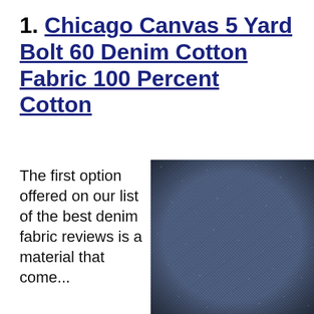1. Chicago Canvas 5 Yard Bolt 60 Denim Cotton Fabric 100 Percent Cotton
The first option offered on our list of the best denim fabric reviews is a material that come...
[Figure (photo): Close-up photo of dark blue denim cotton fabric texture showing woven threads]